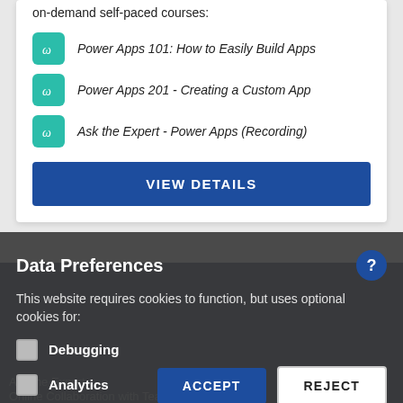on-demand self-paced courses:
Power Apps 101: How to Easily Build Apps
Power Apps 201 - Creating a Custom App
Ask the Expert - Power Apps (Recording)
VIEW DETAILS
[Figure (screenshot): Dark navy background section visible behind cookie consent modal]
Data Preferences
This website requires cookies to function, but uses optional cookies for:
Debugging
Analytics
ACCEPT
REJECT
Ask the Expert ... Online Collaboration with Teams